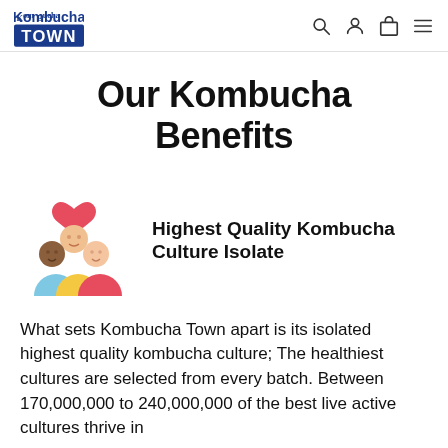Kombucha Town [logo] [search] [account] [cart] [menu]
Our Kombucha Benefits
[Figure (illustration): Pyramid of cartoon smiley face circles in various skin tones with a red heart on top, and colorful half-circles at the bottom (blue, yellow, red/pink)]
Highest Quality Kombucha Culture Isolate
What sets Kombucha Town apart is its isolated highest quality kombucha culture; The healthiest cultures are selected from every batch. Between 170,000,000 to 240,000,000 of the best live active cultures thrive in